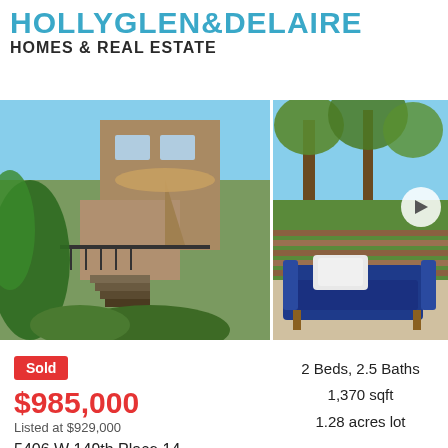[Figure (logo): HollyGlen & Delaire Homes & Real Estate logo with teal/blue stylized text]
[Figure (photo): Two real estate property photos side by side: left shows exterior of home with stairs, umbrella, and lush greenery; right shows outdoor patio area with blue sofa/chair and wooden fence surrounded by trees]
Sold
$985,000
Listed at $929,000
5406 W 149th Place 14
2 Beds, 2.5 Baths
1,370 sqft
1.28 acres lot